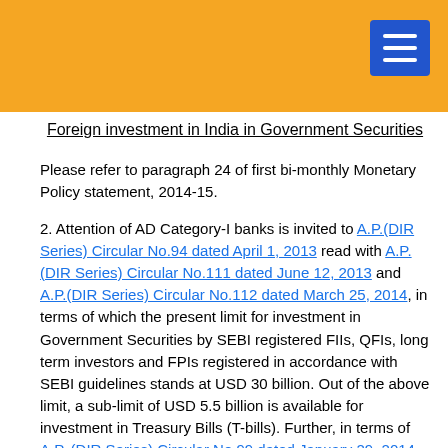[Orange header bar with menu button]
Foreign investment in India in Government Securities
Please refer to paragraph 24 of first bi-monthly Monetary Policy statement, 2014-15.
2. Attention of AD Category-I banks is invited to A.P.(DIR Series) Circular No.94 dated April 1, 2013 read with A.P.(DIR Series) Circular No.111 dated June 12, 2013 and A.P.(DIR Series) Circular No.112 dated March 25, 2014, in terms of which the present limit for investment in Government Securities by SEBI registered FIIs, QFIs, long term investors and FPIs registered in accordance with SEBI guidelines stands at USD 30 billion. Out of the above limit, a sub-limit of USD 5.5 billion is available for investment in Treasury Bills (T-bills). Further, in terms of A.P. (DIR Series) Circular No.99 dated January 29, 2014, a sub-limit of USD 10 billion for investment in Government dated securities within the total limit of USD 30 billion is available to long term investors registered with SEBI – viz. Sovereign Wealth Funds (SWFs), Multilateral Agencies, Pension/ Insurance/ Endowment Funds and foreign Central